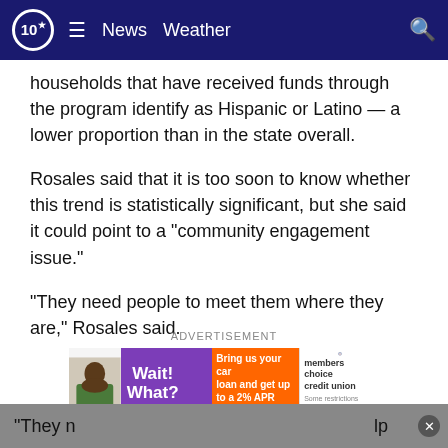10 News Weather
households that have received funds through the program identify as Hispanic or Latino — a lower proportion than in the state overall.
Rosales said that it is too soon to know whether this trend is statistically significant, but she said it could point to a “community engagement issue.”
“They need people to meet them where they are,” Rosales said.
ADVERTISEMENT
[Figure (photo): Advertisement banner for Members Choice Credit Union: 'Wait! What? Bring us your car loan and get up to a 2% APR rate reduction. members choice credit union. Some restrictions apply.']
“They n... lp